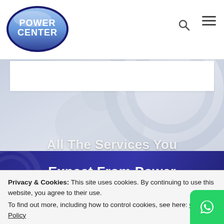[Figure (logo): Power Center oval logo with blue gradient background and white text reading POWER CENTER]
[Figure (illustration): White placeholder box and light grey-blue hero image background with faint circular decoration and a faint world-map or person silhouette]
All The Services You Expect From Power
Privacy & Cookies: This site uses cookies. By continuing to use this website, you agree to their use.
To find out more, including how to control cookies, see here: Cookie Policy
Close and accept
[Figure (other): Green WhatsApp icon button in the bottom right corner]